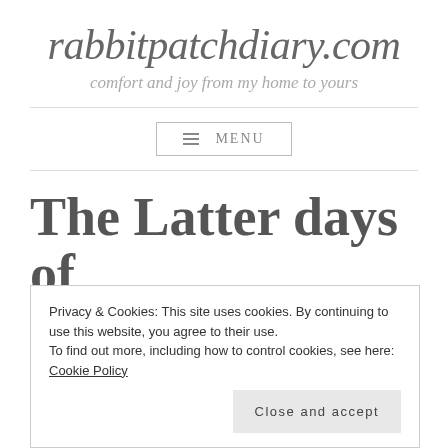rabbitpatchdiary.com
comfort and joy from my home to yours
≡ MENU
The Latter days of
Privacy & Cookies: This site uses cookies. By continuing to use this website, you agree to their use.
To find out more, including how to control cookies, see here: Cookie Policy
Close and accept